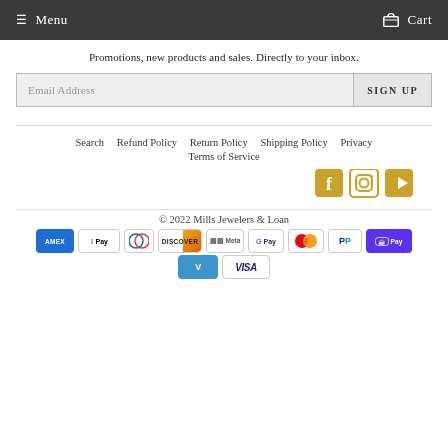Menu   Cart
Promotions, new products and sales. Directly to your inbox.
Email Address  SIGN UP
Search
Refund Policy
Return Policy
Shipping Policy
Privacy
Terms of Service
[Figure (other): Social media icons: Facebook, Instagram, YouTube in gold/yellow color]
© 2022 Mills Jewelers & Loan
[Figure (other): Payment method badges: Amex, Apple Pay, Diners Club, Discover, Meta Pay, Google Pay, Mastercard, PayPal, Shop Pay, Venmo, Visa]